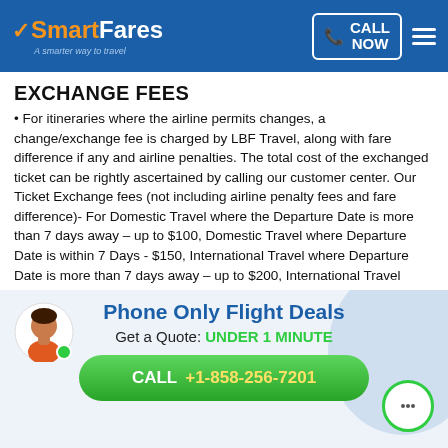SmartFares - A smarter way to travel | CALL NOW
EXCHANGE FEES
For itineraries where the airline permits changes, a change/exchange fee is charged by LBF Travel, along with fare difference if any and airline penalties. The total cost of the exchanged ticket can be rightly ascertained by calling our customer center. Our Ticket Exchange fees (not including airline penalty fees and fare difference)- For Domestic Travel where the Departure Date is more than 7 days away – up to $100, Domestic Travel where Departure Date is within 7 Days - $150, International Travel where Departure Date is more than 7 days away – up to $200, International Travel where Departure Date is within 7 days away $300. We make no additional representation for our exchange fees
Phone Only Flight Deals
Get a Quote: UNDER 1 MINUTE
CALL +1-858-256-7201